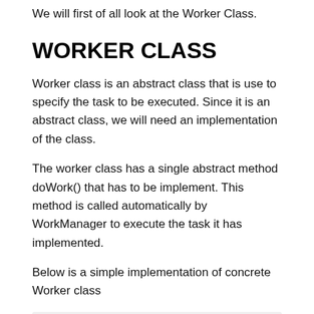We will first of all look at the Worker Class.
WORKER CLASS
Worker class is an abstract class that is use to specify the task to be executed. Since it is an abstract class, we will need an implementation of the class.
The worker class has a single abstract method doWork() that has to be implement. This method is called automatically by WorkManager to execute the task it has implemented.
Below is a simple implementation of concrete Worker class
[Figure (screenshot): Code block showing: public class NotificationHandler extends Wor]